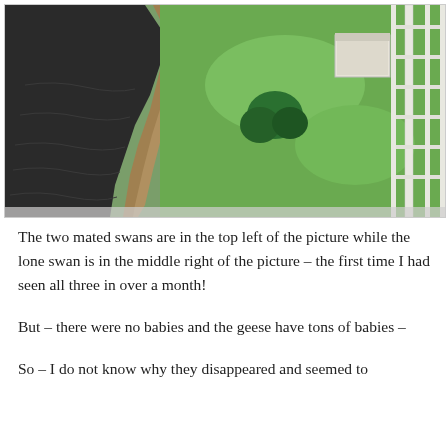[Figure (photo): Aerial photograph looking down at a pond or lake on the left with rippling dark water, and green lawn/grass on the right. A small white building or shed is visible in the upper right portion, with a white fence extending down the right side. Trees and brown vegetation are also visible near the water's edge.]
The two mated swans are in the top left of the picture while the lone swan is in the middle right of the picture – the first time I had seen all three in over a month!
But – there were no babies and the geese have tons of babies –
So – I do not know why they disappeared and seemed to